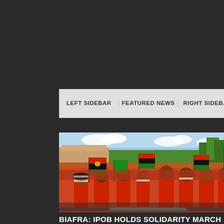LEFT SIDEBAR | FEATURED NEWS | RIGHT SIDEBAR
[Figure (photo): Crowd of people marching in a solidarity rally, many wearing red clothing and carrying Biafran flags (red, black, and green) outdoors on a street with trees and buildings in the background.]
BIAFRA: IPOB HOLDS SOLIDARITY MARCH